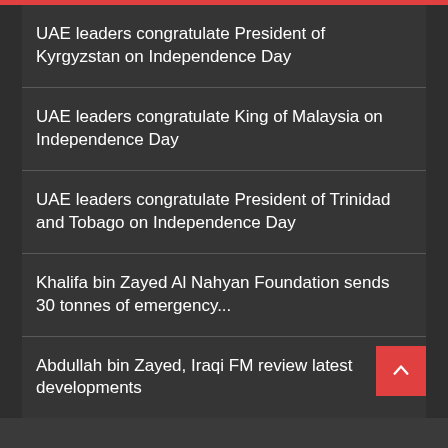UAE leaders congratulate President of Kyrgyzstan on Independence Day
UAE leaders congratulate King of Malaysia on Independence Day
UAE leaders congratulate President of Trinidad and Tobago on Independence Day
Khalifa bin Zayed Al Nahyan Foundation sends 30 tonnes of emergency...
Abdullah bin Zayed, Iraqi FM review latest developments